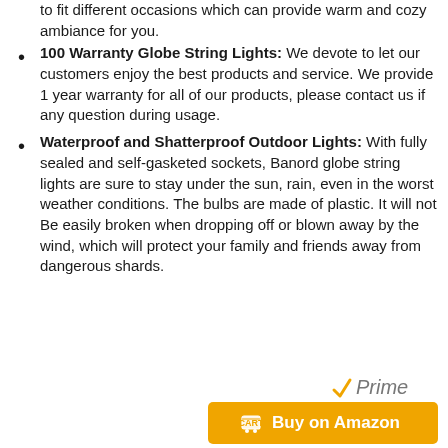to fit different occasions which can provide warm and cozy ambiance for you.
100 Warranty Globe String Lights: We devote to let our customers enjoy the best products and service. We provide 1 year warranty for all of our products, please contact us if any question during usage.
Waterproof and Shatterproof Outdoor Lights: With fully sealed and self-gasketed sockets, Banord globe string lights are sure to stay under the sun, rain, even in the worst weather conditions. The bulbs are made of plastic. It will not Be easily broken when dropping off or blown away by the wind, which will protect your family and friends away from dangerous shards.
[Figure (logo): Amazon Prime logo with checkmark]
[Figure (other): Buy on Amazon orange button with cart icon]